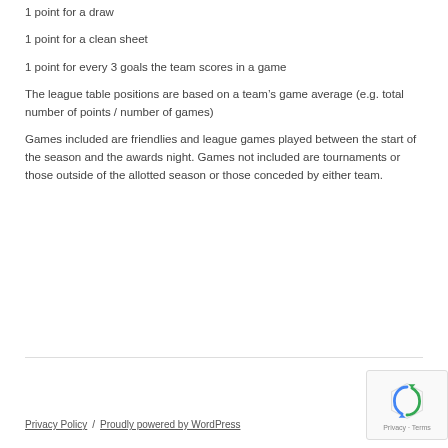1 point for a draw
1 point for a clean sheet
1 point for every 3 goals the team scores in a game
The league table positions are based on a team’s game average (e.g. total number of points / number of games)
Games included are friendlies and league games played between the start of the season and the awards night. Games not included are tournaments or those outside of the allotted season or those conceded by either team.
Privacy Policy / Proudly powered by WordPress